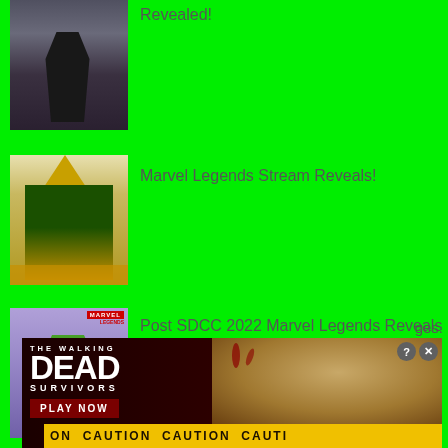[Figure (photo): Action figure of a Catwoman-like character in black suit, partially visible at top of page]
Revealed!
[Figure (photo): Marvel Legends action figure of Loki in yellow and green costume]
Marvel Legends Stream Reveals!
[Figure (photo): Marvel Legends She-Hulk action figure in purple outfit]
Post SDCC 2022 Marvel Legends Reveals
[Figure (photo): The Walking Dead Survivors game advertisement banner with zombie imagery, PLAY NOW button, and CAUTION tape]
...ges.